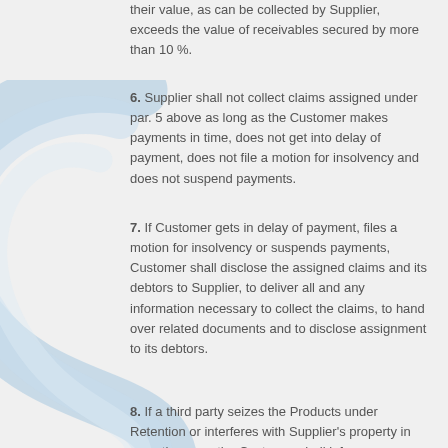their value, as can be collected by Supplier, exceeds the value of receivables secured by more than 10 %.
6. Supplier shall not collect claims assigned under par. 5 above as long as the Customer makes payments in time, does not get into delay of payment, does not file a motion for insolvency and does not suspend payments.
7. If Customer gets in delay of payment, files a motion for insolvency or suspends payments, Customer shall disclose the assigned claims and its debtors to Supplier, to deliver all and any information necessary to collect the claims, to hand over related documents and to disclose assignment to its debtors.
8. If a third party seizes the Products under Retention or interferes with Supplier's property in any other way, the Customer shall inform